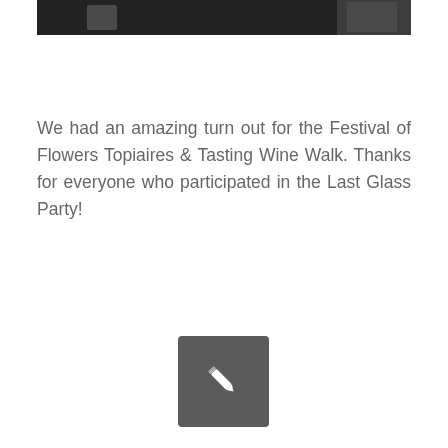[Figure (photo): A dark photograph showing people at what appears to be an indoor event, partially cropped at the top of the page.]
We had an amazing turn out for the Festival of Flowers Topiaires & Tasting Wine Walk. Thanks for everyone who participated in the Last Glass Party!
[Figure (other): A grey square button/icon with a white pencil/edit icon in the center.]